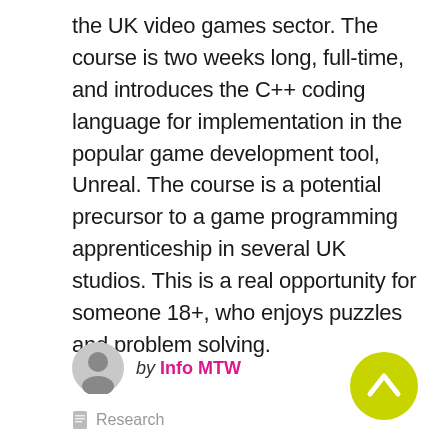the UK video games sector. The course is two weeks long, full-time, and introduces the C++ coding language for implementation in the popular game development tool, Unreal. The course is a potential precursor to a game programming apprenticeship in several UK studios. This is a real opportunity for someone 18+, who enjoys puzzles and problem solving.
by Info MTW
Research